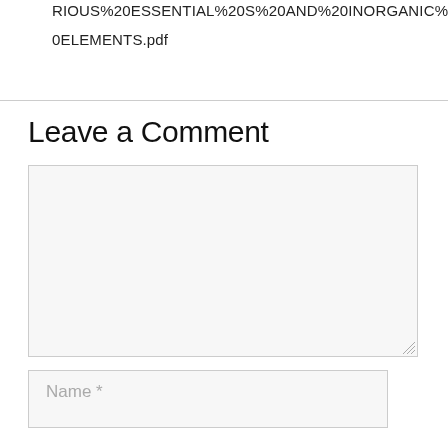RIOUS%20ESSENTIAL%20S%20AND%20INORGANIC%20ELEMENTS.pdf
Leave a Comment
[Figure (other): Large text area input box for comment entry, with resize handle at bottom right]
[Figure (other): Name input field with placeholder text 'Name *']